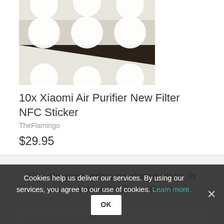[Figure (photo): Close-up photo of 10x Xiaomi Air Purifier NFC stickers on a dark background tray, showing white circular stickers in a white plastic holder]
10x Xiaomi Air Purifier New Filter NFC Sticker
TheFlamingo
$29.95
Get our pioneering hardware picks in your inbox with Tindie Fetch.
Join our mailing list!
Cookies help us deliver our services. By using our services, you agree to our use of cookies. Learn more. OK